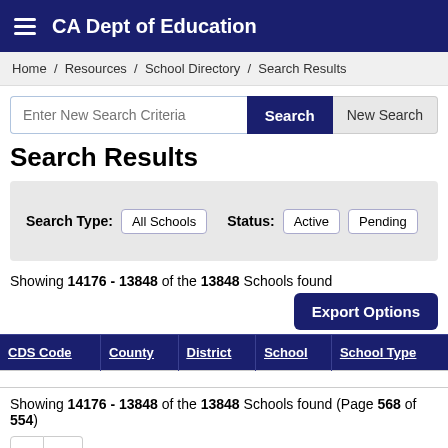CA Dept of Education
Home / Resources / School Directory / Search Results
Enter New Search Criteria
Search Results
Search Type: All Schools   Status: Active Pending
Showing 14176 - 13848 of the 13848 Schools found
| CDS Code | County | District | School | School Type |
| --- | --- | --- | --- | --- |
Showing 14176 - 13848 of the 13848 Schools found (Page 568 of 554)